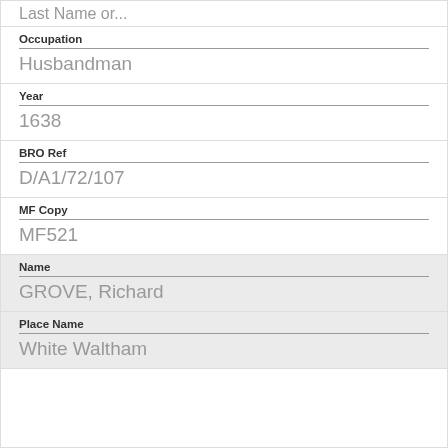Last Name or...
Occupation
Husbandman
Year
1638
BRO Ref
D/A1/72/107
MF Copy
MF521
Name
GROVE, Richard
Place Name
White Waltham